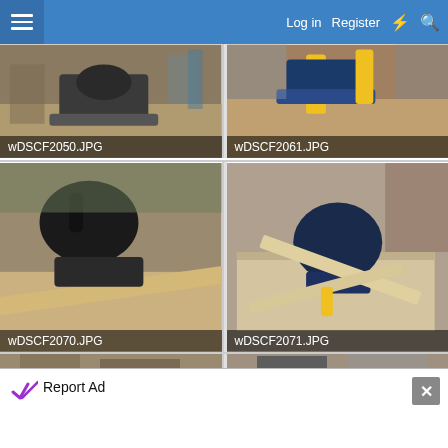Log in  Register
[Figure (photo): Miter saw in a workshop, filename wDSCF2050.JPG]
[Figure (photo): Miter saw close-up with yellow clamps, filename wDSCF2061.JPG]
[Figure (photo): Miter saw on workbench with board, filename wDSCF2070.JPG]
[Figure (photo): Miter saw overhead view with lumber, filename wDSCF2071.JPG]
[Figure (photo): Partial view of workshop image (bottom row left)]
[Figure (photo): Partial view of miter saw image (bottom row right)]
Report Ad